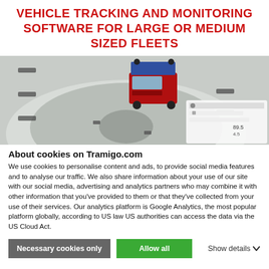VEHICLE TRACKING AND MONITORING SOFTWARE FOR LARGE OR MEDIUM SIZED FLEETS
[Figure (photo): Aerial/top-down view of a red truck on a road intersection, with a partial UI panel visible in the lower right corner showing fleet tracking interface.]
About cookies on Tramigo.com
We use cookies to personalise content and ads, to provide social media features and to analyse our traffic. We also share information about your use of our site with our social media, advertising and analytics partners who may combine it with other information that you've provided to them or that they've collected from your use of their services. Our analytics platform is Google Analytics, the most popular platform globally, according to US law US authorities can access the data via the US Cloud Act.